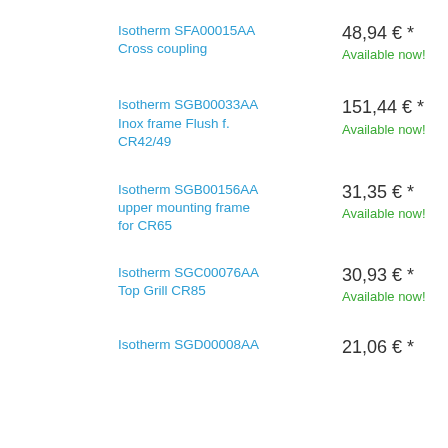Isotherm SFA00015AA Cross coupling
48,94 € *
Available now!
Isotherm SGB00033AA Inox frame Flush f. CR42/49
151,44 € *
Available now!
Isotherm SGB00156AA upper mounting frame for CR65
31,35 € *
Available now!
Isotherm SGC00076AA Top Grill CR85
30,93 € *
Available now!
Isotherm SGD00008AA
21,06 € *